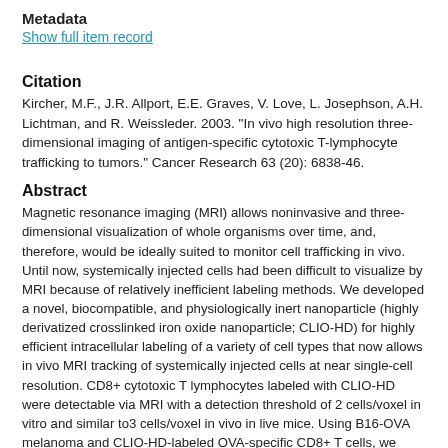Metadata
Show full item record
Citation
Kircher, M.F., J.R. Allport, E.E. Graves, V. Love, L. Josephson, A.H. Lichtman, and R. Weissleder. 2003. "In vivo high resolution three-dimensional imaging of antigen-specific cytotoxic T-lymphocyte trafficking to tumors." Cancer Research 63 (20): 6838-46.
Abstract
Magnetic resonance imaging (MRI) allows noninvasive and three-dimensional visualization of whole organisms over time, and, therefore, would be ideally suited to monitor cell trafficking in vivo. Until now, systemically injected cells had been difficult to visualize by MRI because of relatively inefficient labeling methods. We developed a novel, biocompatible, and physiologically inert nanoparticle (highly derivatized crosslinked iron oxide nanoparticle; CLIO-HD) for highly efficient intracellular labeling of a variety of cell types that now allows in vivo MRI tracking of systemically injected cells at near single-cell resolution. CD8+ cytotoxic T lymphocytes labeled with CLIO-HD were detectable via MRI with a detection threshold of 2 cells/voxel in vitro and similar to3 cells/voxel in vivo in live mice. Using B16-OVA melanoma and CLIO-HD-labeled OVA-specific CD8+ T cells, we have demonstrated for the first time high resolution imaging of T-cell